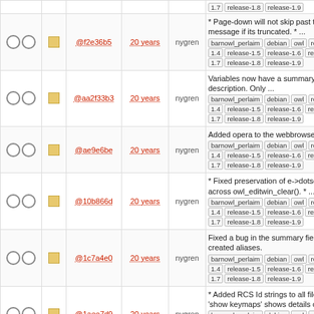|  |  | hash | age | author | description |
| --- | --- | --- | --- | --- | --- |
| ○○ | □ | @f2e36b5 | 20 years | nygren | * Page-down will not skip past th message if its truncated. * ... [barnowl_perlaim][debian][owl][rele...] 1.4 release-1.5 release-1.6 release 1.7 release-1.8 release-1.9 |
| ○○ | □ | @aa2f33b3 | 20 years | nygren | Variables now have a summary a long description. Only ... [barnowl_perlaim][debian][owl][rele...] 1.4 release-1.5 release-1.6 release 1.7 release-1.8 release-1.9 |
| ○○ | □ | @ae9e6be | 20 years | nygren | Added opera to the webbrowser [barnowl_perlaim][debian][owl][rele...] 1.4 release-1.5 release-1.6 release 1.7 release-1.8 release-1.9 |
| ○○ | □ | @10b866d | 20 years | nygren | * Fixed preservation of e->dotser across owl_editwin_clear(). * ... [barnowl_perlaim][debian][owl][rele...] 1.4 release-1.5 release-1.6 release 1.7 release-1.8 release-1.9 |
| ○○ | □ | @1c7a4e0 | 20 years | nygren | Fixed a bug in the summary field user-created aliases. [barnowl_perlaim][debian][owl][rele...] 1.4 release-1.5 release-1.6 release 1.7 release-1.8 release-1.9 |
| ○○ | □ | @1aee7d9 | 20 years | nygren | * Added RCS Id strings to all files 'show keymaps' shows details of [barnowl_perlaim][debian][owl][rele...] 1.4 release-1.5 release-1.6 release 1.7 release-1.8 release-1.9 |
| ●○ | □green | @7d4fbcd | 20 years | kretch | Initial check in [barnowl_perlaim][debian][owl][rele...] 1.4 release-1.5 release-1.6 ... |